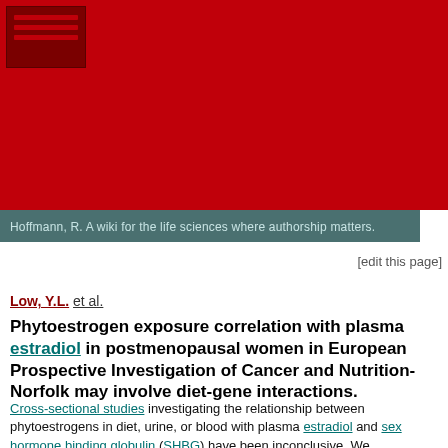[Figure (logo): Red header banner with dark red logo box containing horizontal lines, resembling a wiki/journal header]
Hoffmann, R. A wiki for the life sciences where authorship matters.
[edit this page]
Low, Y.L. et al.
Phytoestrogen exposure correlation with plasma estradiol in postmenopausal women in European Prospective Investigation of Cancer and Nutrition-Norfolk may involve diet-gene interactions.
Cross-sectional studies investigating the relationship between phytoestrogens in diet, urine, or blood with plasma estradiol and sex hormone binding globulin (SHBG) have been inconclusive. We investigated the relationship among phytoestrogen exposure, polymorphisms in the ESR1, COMT, CYP19, and SHBG genes, and plasma estradiol and SHBG levels in 125 free-living postmenopausal